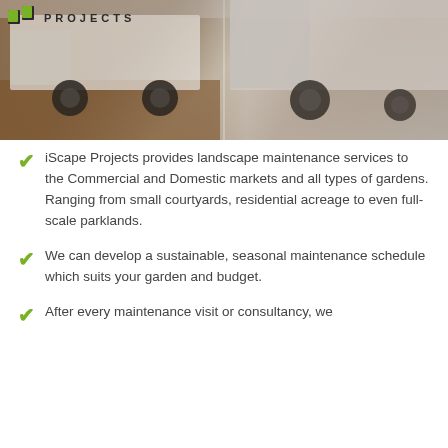[Figure (photo): Photo of white commercial trucks/vehicles parked on dirt ground, with iScape Projects logo overlaid in top-left corner]
iScape Projects provides landscape maintenance services to the Commercial and Domestic markets and all types of gardens. Ranging from small courtyards, residential acreage to even full-scale parklands.
We can develop a sustainable, seasonal maintenance schedule which suits your garden and budget.
After every maintenance visit or consultancy, we